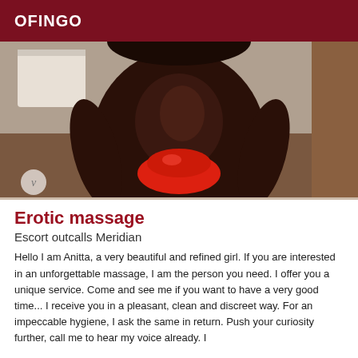OFINGO
[Figure (photo): Photo of a woman in a red bikini bottom, torso visible, standing in a room with a beige wall and a white towel. A watermark 'v' circle is visible in the lower left.]
Erotic massage
Escort outcalls Meridian
Hello I am Anitta, a very beautiful and refined girl. If you are interested in an unforgettable massage, I am the person you need. I offer you a unique service. Come and see me if you want to have a very good time... I receive you in a pleasant, clean and discreet way. For an impeccable hygiene, I ask the same in return. Push your curiosity further, call me to hear my voice already. I